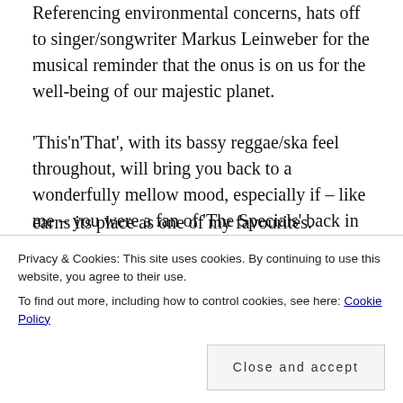Referencing environmental concerns, hats off to singer/songwriter Markus Leinweber for the musical reminder that the onus is on us for the well-being of our majestic planet.
'This'n'That', with its bassy reggae/ska feel throughout, will bring you back to a wonderfully mellow mood, especially if – like me – you were a fan of 'The Specials' back in the day. Another charming piano intro heralds 'Run into the Sun' next; with some beautifully clear vocals from Markus and some rousing guitar solos into the mix, this gentle rock song earns its place as one of my favourites.
Privacy & Cookies: This site uses cookies. By continuing to use this website, you agree to their use. To find out more, including how to control cookies, see here: Cookie Policy
intimate. The minor key and choir of humming backing singers